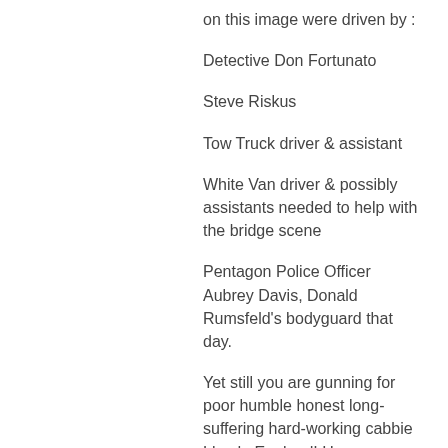on this image were driven by :
Detective Don Fortunato
Steve Riskus
Tow Truck driver & assistant
White Van driver & possibly assistants needed to help with the bridge scene
Pentagon Police Officer Aubrey Davis, Donald Rumsfeld's bodyguard that day.
Yet still you are gunning for poor humble honest long-suffering hard-working cabbie Lloyde England! Have you no